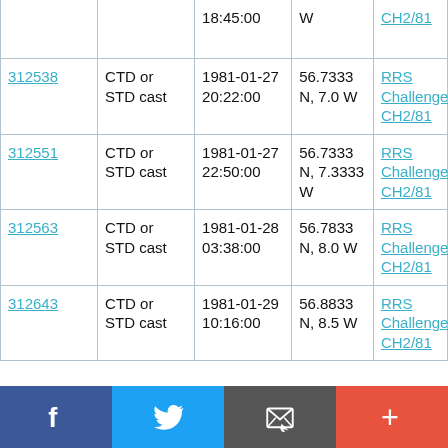| ID | Type | Date/Time | Location | Cruise |
| --- | --- | --- | --- | --- |
|  |  | 18:45:00 | W | RRS Challenger CH2/81 |
| 312538 | CTD or STD cast | 1981-01-27 20:22:00 | 56.7333 N, 7.0 W | RRS Challenger CH2/81 |
| 312551 | CTD or STD cast | 1981-01-27 22:50:00 | 56.7333 N, 7.3333 W | RRS Challenger CH2/81 |
| 312563 | CTD or STD cast | 1981-01-28 03:38:00 | 56.7833 N, 8.0 W | RRS Challenger CH2/81 |
| 312643 | CTD or STD cast | 1981-01-29 10:16:00 | 56.8833 N, 8.5 W | RRS Challenger CH2/81 |